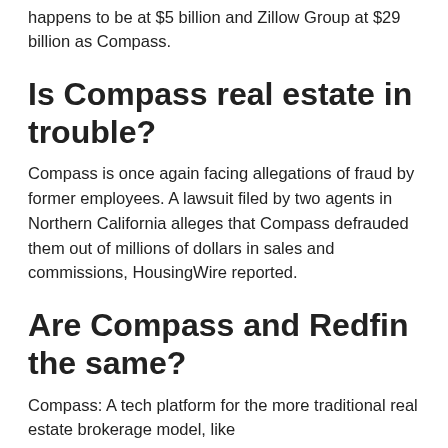happens to be at $5 billion and Zillow Group at $29 billion as Compass.
Is Compass real estate in trouble?
Compass is once again facing allegations of fraud by former employees. A lawsuit filed by two agents in Northern California alleges that Compass defrauded them out of millions of dollars in sales and commissions, HousingWire reported.
Are Compass and Redfin the same?
Compass: A tech platform for the more traditional real estate brokerage model, like